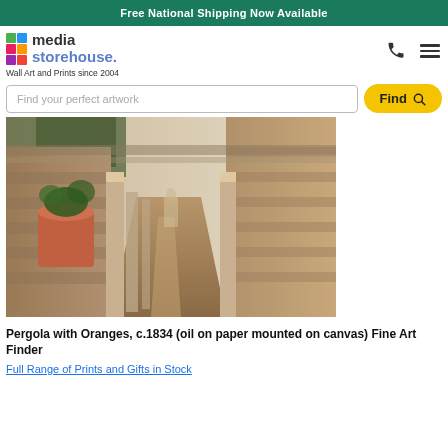Free National Shipping Now Available
[Figure (logo): Media Storehouse logo with colorful grid of squares and text 'media storehouse.' with tagline 'Wall Art and Prints since 2004']
Find your perfect artwork
[Figure (photo): Painting of a pergola walkway with stone pillars, terracotta pot with orange tree, and garden path - Pergola with Oranges c.1834]
Pergola with Oranges, c.1834 (oil on paper mounted on canvas) Fine Art Finder
Full Range of Prints and Gifts in Stock